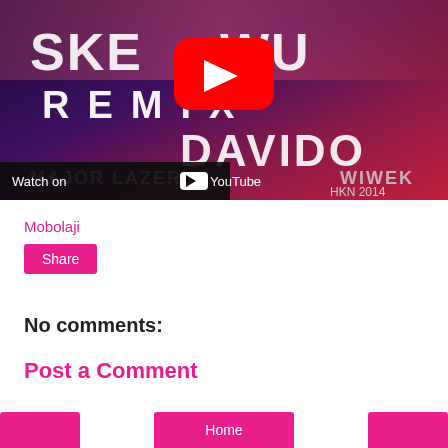[Figure (screenshot): YouTube video thumbnail showing 'Skewu Remix' with Davido, Major Lazer, Wiwek. Red YouTube play button in center. Text: SKE-WU, REMIX, DAVIDO, MAJOR LAZER, WIWEK, HKN 2014. 'Watch on YouTube' text at bottom left.]
Mobolaji
Share
No comments:
Post a Comment
Home